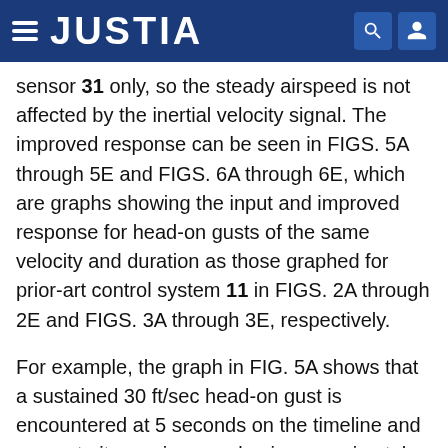JUSTIA
sensor 31 only, so the steady airspeed is not affected by the inertial velocity signal. The improved response can be seen in FIGS. 5A through 5E and FIGS. 6A through 6E, which are graphs showing the input and improved response for head-on gusts of the same velocity and duration as those graphed for prior-art control system 11 in FIGS. 2A through 2E and FIGS. 3A through 3E, respectively.
For example, the graph in FIG. 5A shows that a sustained 30 ft/sec head-on gust is encountered at 5 seconds on the timeline and ramps to its maximum value in approximately 1 second. The gust causes the measured airspeed, shown in FIG. 5B, to rise from the commanded airspeed of 200 kts to approximately 207 kts at around 7.5 seconds. FIG. 5C shows that groundspeed also decreases, as expected. In response to the increased